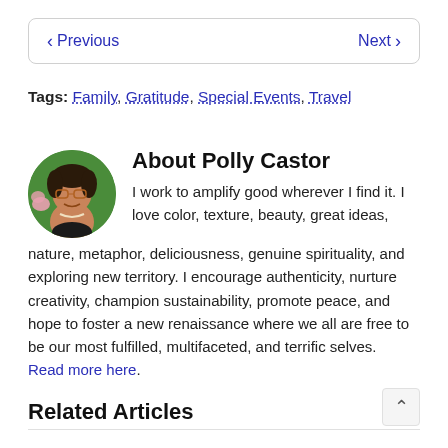< Previous   Next >
Tags: Family, Gratitude, Special Events, Travel
About Polly Castor
[Figure (photo): Circular portrait photo of Polly Castor, a woman smiling with glasses, pink flower, against green background]
I work to amplify good wherever I find it. I love color, texture, beauty, great ideas, nature, metaphor, deliciousness, genuine spirituality, and exploring new territory. I encourage authenticity, nurture creativity, champion sustainability, promote peace, and hope to foster a new renaissance where we all are free to be our most fulfilled, multifaceted, and terrific selves. Read more here.
Related Articles